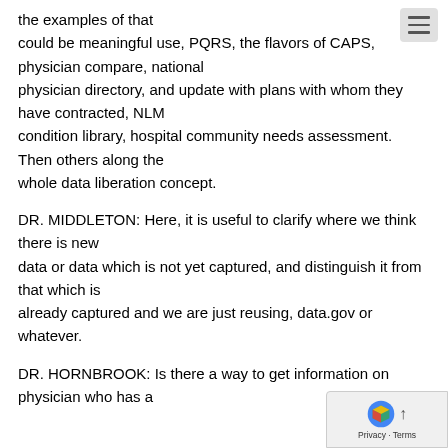the examples of that could be meaningful use, PQRS, the flavors of CAPS, physician compare, national physician directory, and update with plans with whom they have contracted, NLM condition library, hospital community needs assessment. Then others along the whole data liberation concept.
DR. MIDDLETON: Here, it is useful to clarify where we think there is new data or data which is not yet captured, and distinguish it from that which is already captured and we are just reusing, data.gov or whatever.
DR. HORNBROOK: Is there a way to get information on physician who has a